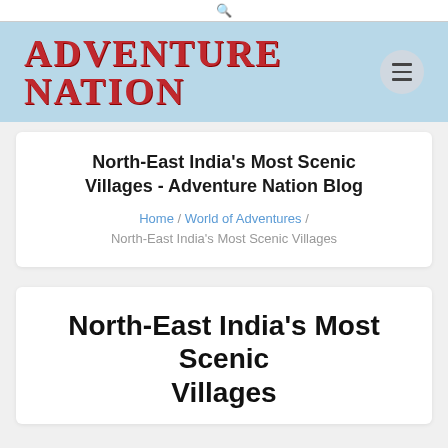🔍
Adventure Nation
North-East India's Most Scenic Villages - Adventure Nation Blog
Home / World of Adventures / North-East India's Most Scenic Villages
North-East India's Most Scenic Villages